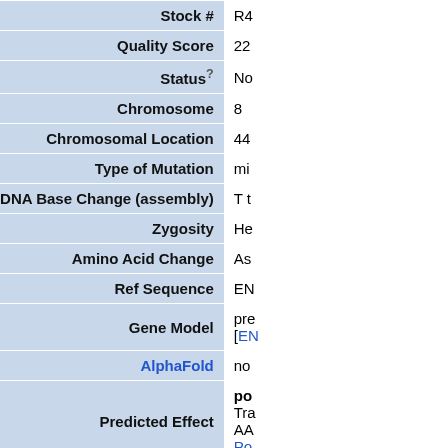Download
| Field | Value |
| --- | --- |
| Stock # | R4... |
| Quality Score | 22 |
| Status (?) | No... |
| Chromosome | 8 |
| Chromosomal Location | 44... |
| Type of Mutation | mi... |
| DNA Base Change (assembly) | T t... |
| Zygosity | He... |
| Amino Acid Change | As... |
| Ref Sequence | EN... |
| Gene Model | pre... [EN...] |
| AlphaFold | no... |
| Predicted Effect | po... Tra... AA... |
|  | Po... |